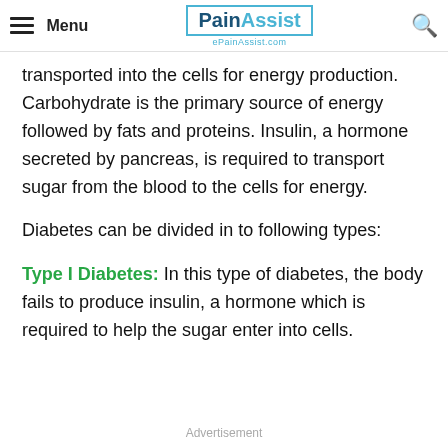Menu | PainAssist ePainAssist.com
transported into the cells for energy production. Carbohydrate is the primary source of energy followed by fats and proteins. Insulin, a hormone secreted by pancreas, is required to transport sugar from the blood to the cells for energy.
Diabetes can be divided in to following types:
Type I Diabetes: In this type of diabetes, the body fails to produce insulin, a hormone which is required to help the sugar enter into cells.
Advertisement